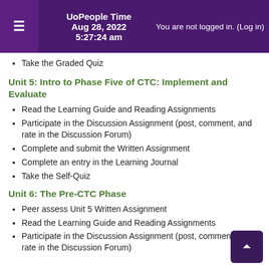UoPeople Time Aug 28, 2022 5:27:24 am   You are not logged in. (Log in)
Take the Graded Quiz
Unit 5: Intro to Phase Five of CTC: Implement and Evaluate
Read the Learning Guide and Reading Assignments
Participate in the Discussion Assignment (post, comment, and rate in the Discussion Forum)
Complete and submit the Written Assignment
Complete an entry in the Learning Journal
Take the Self-Quiz
Unit 6: The Pre-CTC Phase
Peer assess Unit 5 Written Assignment
Read the Learning Guide and Reading Assignments
Participate in the Discussion Assignment (post, comment, and rate in the Discussion Forum)